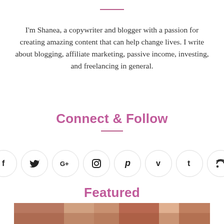I'm Shanea, a copywriter and blogger with a passion for creating amazing content that can help change lives. I write about blogging, affiliate marketing, passive income, investing, and freelancing in general.
Connect & Follow
[Figure (infographic): Row of 8 social media icon circles: Facebook (f), Twitter (bird), Google+ (G+), Instagram (camera), Pinterest (P), Vimeo (v), Tumblr (t), RSS (signal)]
Featured
[Figure (photo): Partial photo strip at page bottom showing a crowd of people]